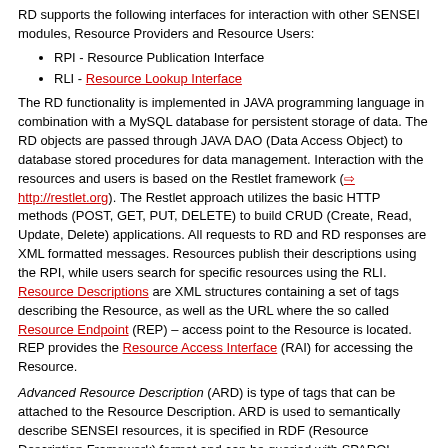RD supports the following interfaces for interaction with other SENSEI modules, Resource Providers and Resource Users:
RPI - Resource Publication Interface
RLI - Resource Lookup Interface
The RD functionality is implemented in JAVA programming language in combination with a MySQL database for persistent storage of data. The RD objects are passed through JAVA DAO (Data Access Object) to database stored procedures for data management. Interaction with the resources and users is based on the Restlet framework (http://restlet.org). The Restlet approach utilizes the basic HTTP methods (POST, GET, PUT, DELETE) to build CRUD (Create, Read, Update, Delete) applications. All requests to RD and RD responses are XML formatted messages. Resources publish their descriptions using the RPI, while users search for specific resources using the RLI. Resource Descriptions are XML structures containing a set of tags describing the Resource, as well as the URL where the so called Resource Endpoint (REP) – access point to the Resource is located. REP provides the Resource Access Interface (RAI) for accessing the Resource.
Advanced Resource Description (ARD) is type of tags that can be attached to the Resource Description. ARD is used to semantically describe SENSEI resources, it is specified in RDF (Resource Description Framework) format and can be queried with SPARQL statements using RLI.
RD Notification Manager is in charge of maintaining subscriptions for clients subscribing to a Resource lookup, e.g. requesting